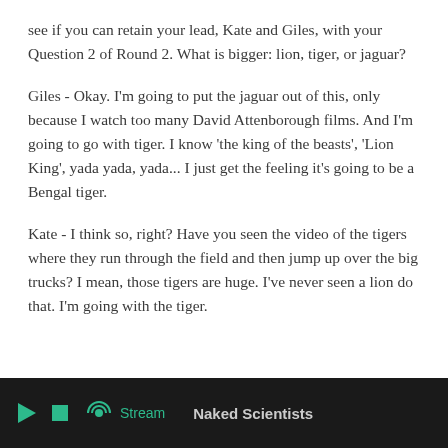see if you can retain your lead, Kate and Giles, with your Question 2 of Round 2. What is bigger: lion, tiger, or jaguar?
Giles - Okay. I'm going to put the jaguar out of this, only because I watch too many David Attenborough films. And I'm going to go with tiger. I know 'the king of the beasts', 'Lion King', yada yada, yada... I just get the feeling it's going to be a Bengal tiger.
Kate - I think so, right? Have you seen the video of the tigers where they run through the field and then jump up over the big trucks? I mean, those tigers are huge. I've never seen a lion do that. I'm going with the tiger.
Stream   Naked Scientists